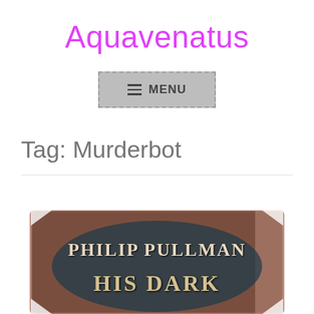Aquavenatus
[Figure (screenshot): Navigation menu button with hamburger icon and MENU text, gray background with dashed border]
Tag: Murderbot
[Figure (photo): Book cover photo showing Philip Pullman His Dark Materials, brown/dark cover with ornate lettering]